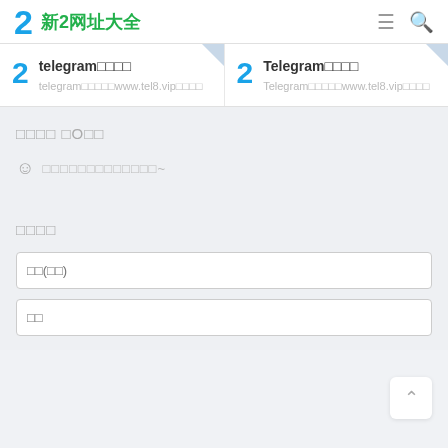2 新2网址大全
[Figure (screenshot): Two website cards showing telegram and Telegram links with URLs www.tel8.vip]
□□□□ □O□□
☺ □□□□□□□□□□□□□~
□□□□
□□(□□)
□□